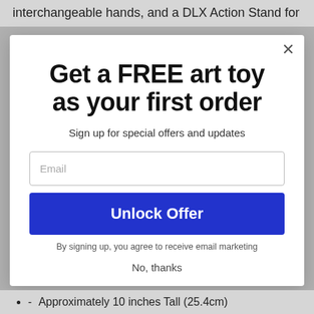interchangeable hands, and a DLX Action Stand for
Get a FREE art toy as your first order
Sign up for special offers and updates
Email
Unlock Offer
By signing up, you agree to receive email marketing
No, thanks
- Approximately 10 inches Tall (25.4cm)